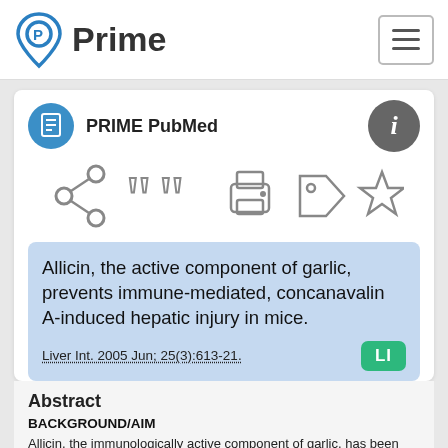[Figure (logo): Prime PubMed logo with blue map pin icon and bold Prime text]
PRIME PubMed
Allicin, the active component of garlic, prevents immune-mediated, concanavalin A-induced hepatic injury in mice.
Liver Int. 2005 Jun; 25(3):613-21.
Abstract
BACKGROUND/AIM
Allicin, the immunologically active component of garlic, has been found to affect oxidative stress and immune response in several experimental systems. In the present study, we